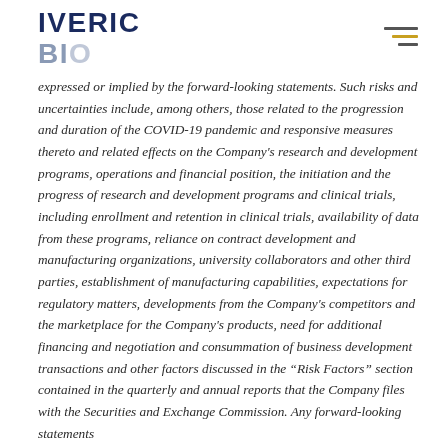IVERIC BIO
expressed or implied by the forward-looking statements. Such risks and uncertainties include, among others, those related to the progression and duration of the COVID-19 pandemic and responsive measures thereto and related effects on the Company's research and development programs, operations and financial position, the initiation and the progress of research and development programs and clinical trials, including enrollment and retention in clinical trials, availability of data from these programs, reliance on contract development and manufacturing organizations, university collaborators and other third parties, establishment of manufacturing capabilities, expectations for regulatory matters, developments from the Company's competitors and the marketplace for the Company's products, need for additional financing and negotiation and consummation of business development transactions and other factors discussed in the “Risk Factors” section contained in the quarterly and annual reports that the Company files with the Securities and Exchange Commission. Any forward-looking statements